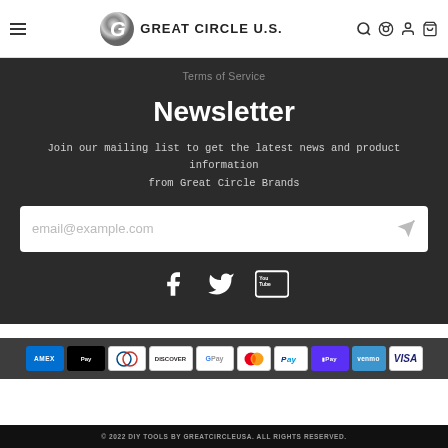GREAT CIRCLE U.S.
Terms of Service
Newsletter
Join our mailing list to get the latest news and product information from Great Circle Brands
[Figure (screenshot): Email input field with placeholder text email@example.com and a send icon]
[Figure (infographic): Social media icons: Facebook, Twitter, YouTube]
[Figure (infographic): Payment method icons: Amex, Apple Pay, Diners Club, Discover, Google Pay, Mastercard, PayPal, Shop Pay, Venmo, Visa]
© 2022 DIY TOOLS BY GREATCIRCLEUSA. ALL RIGHTS RESERVED.